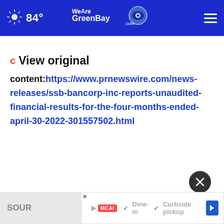84° WeAreGreenBay.com
View original content:https://www.prnewswire.com/news-releases/ssb-bancorp-inc-reports-unaudited-financial-results-for-the-four-months-ended-april-30-2022-301557502.html
SOURCE